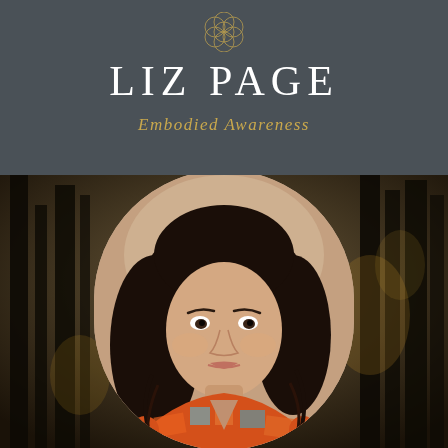[Figure (logo): Geometric mandala/sacred geometry symbol above the brand name]
LIZ PAGE
Embodied Awareness
[Figure (photo): Portrait photograph of a woman with dark curly hair wearing a colorful orange patterned bohemian blouse, shown in an arched frame with a forest background]